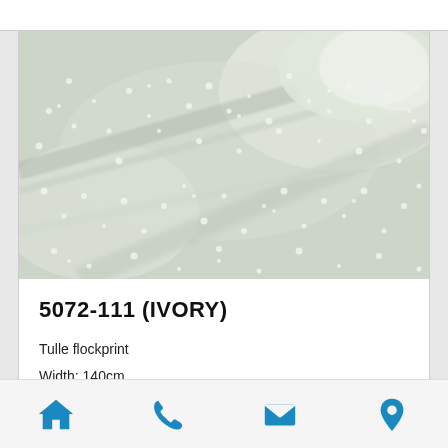[Figure (photo): Close-up photo of ivory tulle flockprint fabric showing textured dot pattern and layers of sheer fabric in light cream/ivory tones]
5072-111 (IVORY)
Tulle flockprint
Width: 140cm
[Figure (infographic): Bottom navigation bar with four blue icons: home, phone, email/envelope, map pin/location]